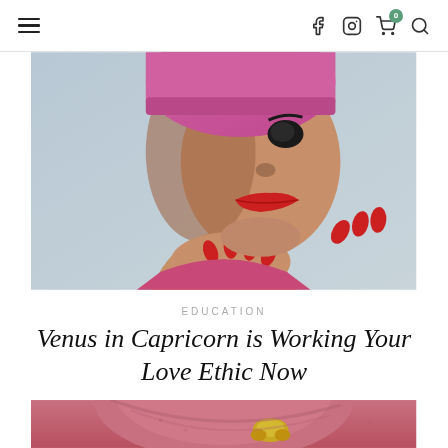Navigation header with hamburger menu, Facebook, Instagram, cart (0), and search icons
[Figure (photo): Vintage-style photo of a woman with red lipstick, pink head covering, red fingernails, looking at camera against blue-grey background]
EDUCATION
Venus in Capricorn is Working Your Love Ethic Now
[Figure (photo): Vintage-style photo of a woman with pink/magenta turban and gold jeweled hair accessory, partially shown]